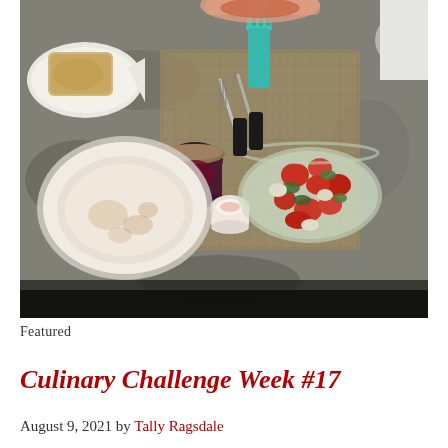[Figure (photo): Overhead view of a dining table with food items including a tomato salad in a glass bowl, a round dish with oatmeal or porridge, bread on a fish-shaped plate, a jar of jam, utensils on a woven placemat, and other tableware.]
Featured
Culinary Challenge Week #17
August 9, 2021 by Tally Ragsdale